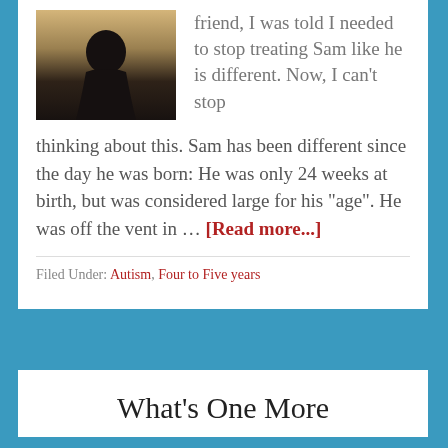[Figure (photo): Silhouette of a child/person viewed from behind against a warm golden outdoor background]
friend, I was told I needed to stop treating Sam like he is different. Now, I can't stop thinking about this. Sam has been different since the day he was born: He was only 24 weeks at birth, but was considered large for his "age". He was off the vent in … [Read more...]
Filed Under: Autism, Four to Five years
What's One More